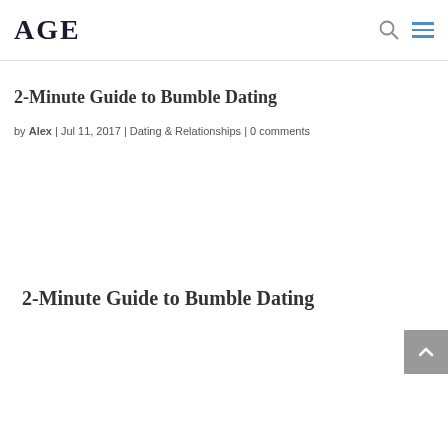AGE
2-Minute Guide to Bumble Dating
by Alex | Jul 11, 2017 | Dating & Relationships | 0 comments
2-Minute Guide to Bumble Dating